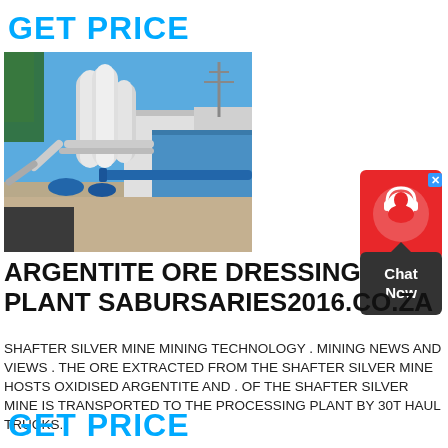GET PRICE
[Figure (photo): Industrial ore dressing plant with large white cylindrical grinding mills, pipes, and conveyor equipment against a blue sky backdrop, with a large blue steel building in the background.]
ARGENTITE ORE DRESSING PLANT SABURSARIES2016.CO.ZA
SHAFTER SILVER MINE MINING TECHNOLOGY . MINING NEWS AND VIEWS . THE ORE EXTRACTED FROM THE SHAFTER SILVER MINE HOSTS OXIDISED ARGENTITE AND . OF THE SHAFTER SILVER MINE IS TRANSPORTED TO THE PROCESSING PLANT BY 30T HAUL TRUCKS.
GET PRICE